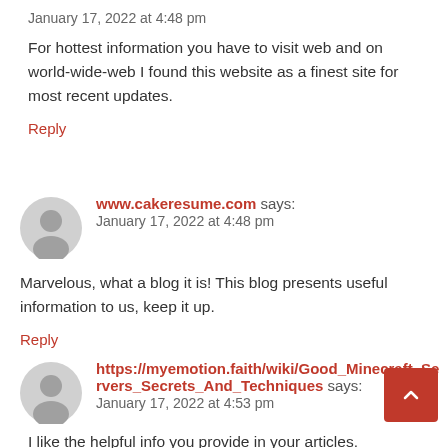January 17, 2022 at 4:48 pm
For hottest information you have to visit web and on world-wide-web I found this website as a finest site for most recent updates.
Reply
www.cakeresume.com says:
January 17, 2022 at 4:48 pm
Marvelous, what a blog it is! This blog presents useful information to us, keep it up.
Reply
https://myemotion.faith/wiki/Good_Minecraft_Servers_Secrets_And_Techniques says:
January 17, 2022 at 4:53 pm
I like the helpful info you provide in your articles.